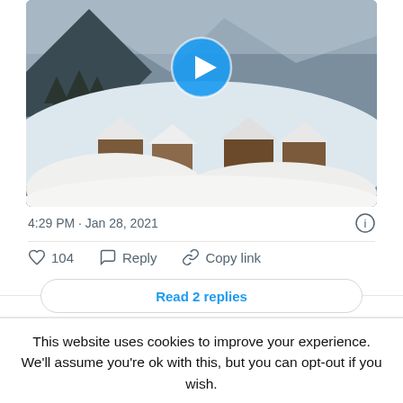[Figure (screenshot): A snow-covered Alpine village scene with a video play button overlay. Mountains and trees in background covered with snow, chalets/houses below with heavy snow on rooftops. Blue circular play button centered near top.]
4:29 PM · Jan 28, 2021
104  Reply  Copy link
Read 2 replies
This website uses cookies to improve your experience. We'll assume you're ok with this, but you can opt-out if you wish.
Read More   ACCEPT